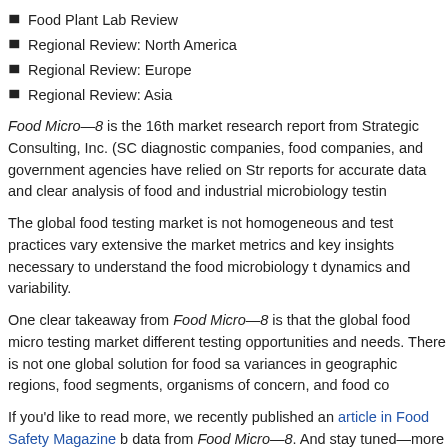Food Plant Lab Review
Regional Review: North America
Regional Review: Europe
Regional Review: Asia
Food Micro—8 is the 16th market research report from Strategic Consulting, Inc. (SC... diagnostic companies, food companies, and government agencies have relied on Str... reports for accurate data and clear analysis of food and industrial microbiology testin...
The global food testing market is not homogeneous and test practices vary extensive... the market metrics and key insights necessary to understand the food microbiology t... dynamics and variability.
One clear takeaway from Food Micro—8 is that the global food micro testing market different testing opportunities and needs. There is not one global solution for food sa... variances in geographic regions, food segments, organisms of concern, and food co...
If you'd like to read more, we recently published an article in Food Safety Magazine b... data from Food Micro—8. And stay tuned—more information on Food Micro—8 will s...
This entry was posted in Blog, Food Safety, Market Insights and tagged diagnostic co... food safety, global food industry, market research report, Strategic Consulting. Bookm...